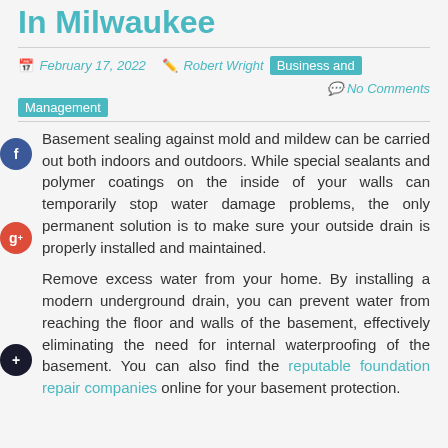In Milwaukee
February 17, 2022   Robert Wright   Business and Management   No Comments
Basement sealing against mold and mildew can be carried out both indoors and outdoors. While special sealants and polymer coatings on the inside of your walls can temporarily stop water damage problems, the only permanent solution is to make sure your outside drain is properly installed and maintained.
Remove excess water from your home. By installing a modern underground drain, you can prevent water from reaching the floor and walls of the basement, effectively eliminating the need for internal waterproofing of the basement. You can also find the reputable foundation repair companies online for your basement protection.